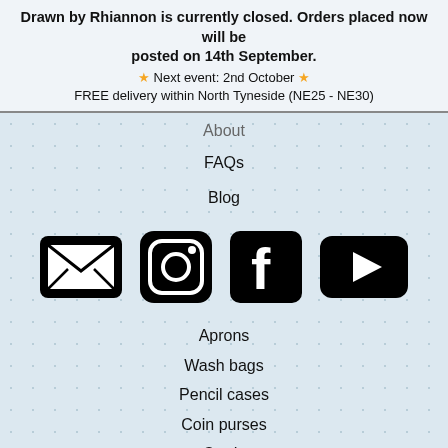Drawn by Rhiannon is currently closed. Orders placed now will be posted on 14th September.
★ Next event: 2nd October ★
FREE delivery within North Tyneside (NE25 - NE30)
About
FAQs
Blog
[Figure (other): Social media icons: email/envelope, Instagram, Facebook, YouTube]
Aprons
Wash bags
Pencil cases
Coin purses
Cards
Beeswax wraps
Makeup pads
Reusable cleaning wipes